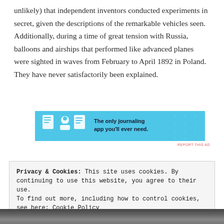unlikely) that independent inventors conducted experiments in secret, given the descriptions of the remarkable vehicles seen. Additionally, during a time of great tension with Russia, balloons and airships that performed like advanced planes were sighted in waves from February to April 1892 in Poland. They have never satisfactorily been explained.
[Figure (other): Advertisement banner for a journaling app with a blue background, icons of a notebook, person, and document, with text 'The only journaling app you'll ever need.']
REPORT THIS AD
Privacy & Cookies: This site uses cookies. By continuing to use this website, you agree to their use. To find out more, including how to control cookies, see here: Cookie Policy
Close and accept
[Figure (photo): Black and white photo strip visible at bottom of page]